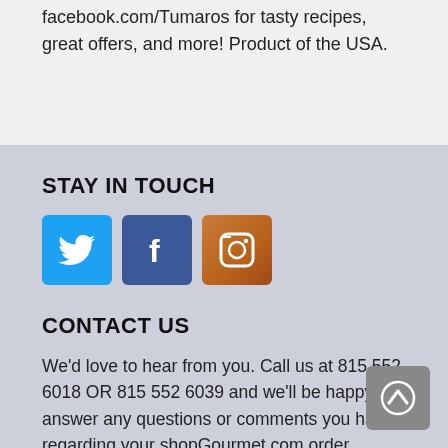facebook.com/Tumaros for tasty recipes, great offers, and more! Product of the USA.
STAY IN TOUCH
[Figure (infographic): Three social media icons: Twitter (blue bird), Facebook (blue f), Instagram (brown camera)]
CONTACT US
We'd love to hear from you. Call us at 815 552 6018 OR 815 552 6039 and we'll be happy to answer any questions or comments you have regarding your shopGourmet.com order.